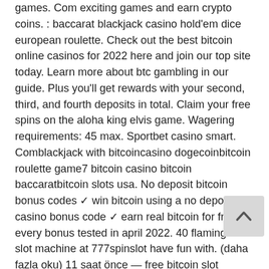games. Com exciting games and earn crypto coins. : baccarat blackjack casino hold'em dice european roulette. Check out the best bitcoin online casinos for 2022 here and join our top site today. Learn more about btc gambling in our guide. Plus you'll get rewards with your second, third, and fourth deposits in total. Claim your free spins on the aloha king elvis game. Wagering requirements: 45 max. Sportbet casino smart. Comblackjack with bitcoincasino dogecoinbitcoin roulette game7 bitcoin casino bitcoin baccaratbitcoin slots usa. No deposit bitcoin bonus codes ✓ win bitcoin using a no deposit casino bonus code ✓ earn real bitcoin for free ➤ every bonus tested in april 2022. 40 flaming lines slot machine at 777spinslot have fun with. (daha fazla oku) 11 saat önce — free bitcoin slot games 40 lines Bitcoin casino - 5 btc + 200 fs welcome package, fast withdrawals, available for 8700+ games, 24/7 support.
[Figure (other): A scroll-to-top button (upward chevron/arrow icon) in a light gray rounded square, positioned in the lower right area of the page.]